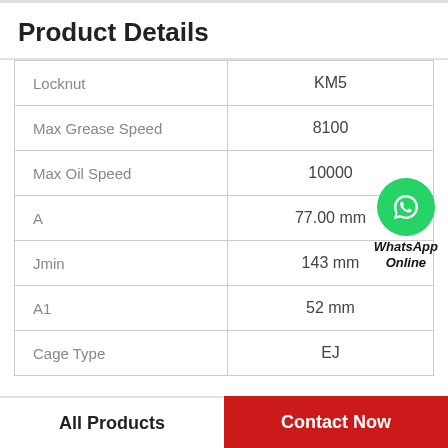Product Details
| Property | Value |
| --- | --- |
| Locknut | KM5 |
| Max Grease Speed | 8100 |
| Max Oil Speed | 10000 |
| A | 77.00 mm |
| Jmin | 143 mm |
| A1 | 52 mm |
| Cage Type | EJ |
[Figure (logo): WhatsApp Online badge with green circle phone icon and bold italic text 'WhatsApp Online']
All Products
Contact Now